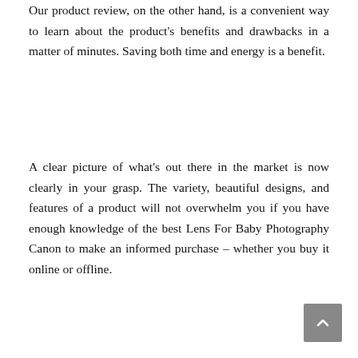Our product review, on the other hand, is a convenient way to learn about the product's benefits and drawbacks in a matter of minutes. Saving both time and energy is a benefit.
A clear picture of what's out there in the market is now clearly in your grasp. The variety, beautiful designs, and features of a product will not overwhelm you if you have enough knowledge of the best Lens For Baby Photography Canon to make an informed purchase – whether you buy it online or offline.